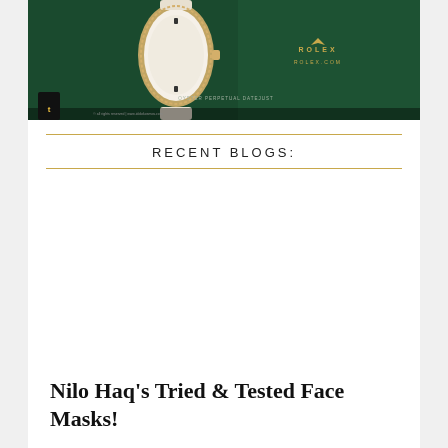[Figure (photo): Rolex advertisement banner showing a Rolex Oyster Perpetual Datejust watch with white strap on a dark green background, with Rolex logo and ROLEX.COM text on the right side]
RECENT BLOGS:
[Figure (photo): Blog post thumbnail image placeholder (white/blank area)]
Nilo Haq's Tried & Tested Face Masks!